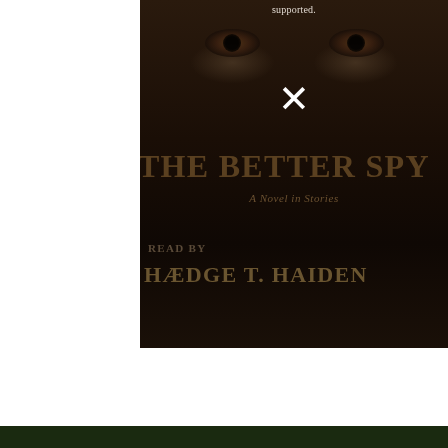supported.
[Figure (photo): Book cover for 'The Better Spy: A Novel in Stories', read by Hedge T. Haiden. Dark wooden background with eyes peering through, large title text, and an X mark in white.]
Privacy & Cookies: This site uses cookies. By continuing to use this website, you agree to their use.
To find out more, including how to control cookies, see here: Cookie Policy
Close and accept